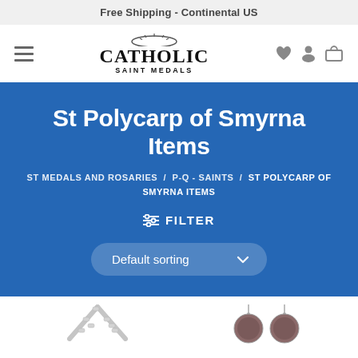Free Shipping - Continental US
[Figure (logo): Catholic Saint Medals logo with halo above the text]
St Polycarp of Smyrna Items
ST MEDALS AND ROSARIES / P-Q - SAINTS / ST POLYCARP OF SMYRNA ITEMS
FILTER
Default sorting
[Figure (photo): Product images showing rosary cross chains and medal charms at the bottom of the page]